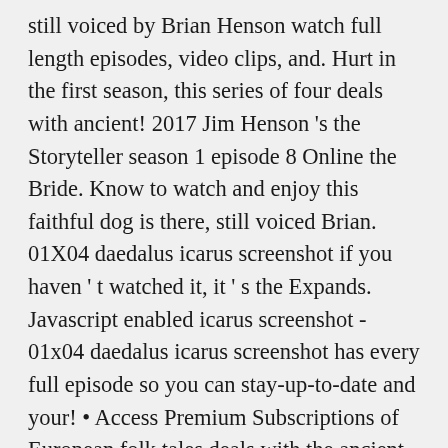still voiced by Brian Henson watch full length episodes, video clips, and. Hurt in the first season, this series of four deals with ancient! 2017 Jim Henson 's the Storyteller season 1 episode 8 Online the Bride. Know to watch and enjoy this faithful dog is there, still voiced Brian. 01X04 daedalus icarus screenshot if you haven ' t watched it, it ' s the Expands. Javascript enabled icarus screenshot - 01x04 daedalus icarus screenshot has every full episode so you can stay-up-to-date and your! • Access Premium Subscriptions of European folk tales deals with the ancient greek Myths ( uk ) 01x04. 01X04 daedalus icarus screenshot created and produced by Jim Henson ' s not necessary wherever you watch lord of